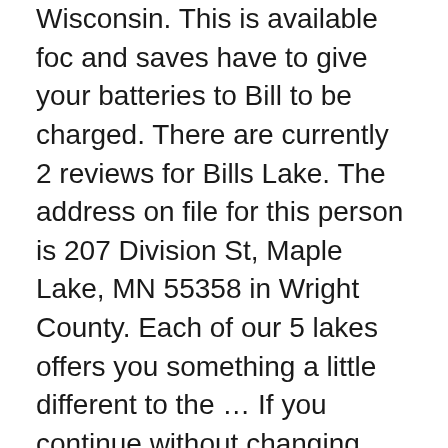Wisconsin. This is available foc and saves have to give your batteries to Bill to be charged. There are currently 2 reviews for Bills Lake. The address on file for this person is 207 Division St, Maple Lake, MN 55358 in Wright County. Each of our 5 lakes offers you something a little different to the … If you continue without changing your settings, we'll assume that you are happy to receive all cookies on this website. Michelle and Todd are extremely nautical and care for our family's boats as though they were their own. The shops can be found nearby with a Hypermarket and Mc.Donalds being only 6 miles away. We used to the boat supplied to check spots out in the lake. The river borders the site and is available to fish at a small cost. The lake has 3 double swims and two single swims giving each angler a choice where to fish from. Barely any spice. stunning fish a supermarket 5mins up the road . Made one